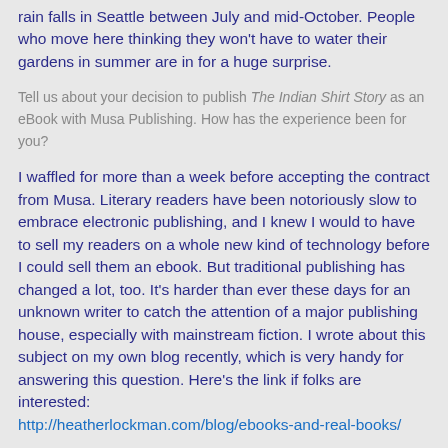rain falls in Seattle between July and mid-October. People who move here thinking they won't have to water their gardens in summer are in for a huge surprise.
Tell us about your decision to publish The Indian Shirt Story as an eBook with Musa Publishing. How has the experience been for you?
I waffled for more than a week before accepting the contract from Musa. Literary readers have been notoriously slow to embrace electronic publishing, and I knew I would to have to sell my readers on a whole new kind of technology before I could sell them an ebook. But traditional publishing has changed a lot, too. It's harder than ever these days for an unknown writer to catch the attention of a major publishing house, especially with mainstream fiction. I wrote about this subject on my own blog recently, which is very handy for answering this question. Here's the link if folks are interested: http://heatherlockman.com/blog/ebooks-and-real-books/
What's next in your writing career, Heather? Any new projects